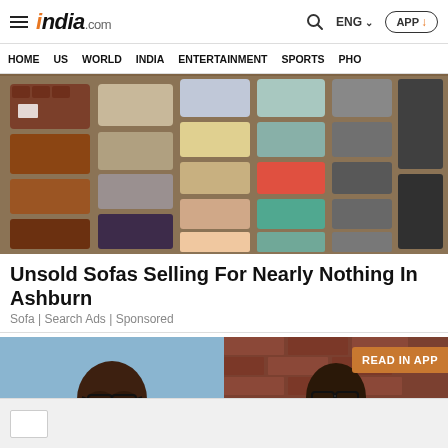india.com — HOME | US | WORLD | INDIA | ENTERTAINMENT | SPORTS | PHO
[Figure (photo): Overhead view of a large furniture store showroom with rows of colorful sofas and couches in various colors including brown, beige, blue, yellow, purple, orange, and teal.]
Unsold Sofas Selling For Nearly Nothing In Ashburn
Sofa | Search Ads | Sponsored
[Figure (photo): Two-panel image of two men. Left panel: a heavier-set Black man with glasses wearing a dark red shirt against a blue background. Right panel: a Black man with glasses and earring smiling against a brick background. A 'READ IN APP' banner overlays the right side.]
READ IN APP